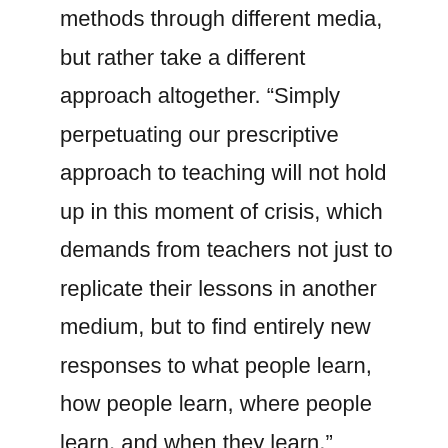methods through different media, but rather take a different approach altogether. “Simply perpetuating our prescriptive approach to teaching will not hold up in this moment of crisis, which demands from teachers not just to replicate their lessons in another medium, but to find entirely new responses to what people learn, how people learn, where people learn, and when they learn,” explains Schleicher. “Technology cannot just change methods of teaching and learning, it can also elevate the role of teachers from imparting received knowledge towards working as co-creators of knowledge.”
Like Schleicher, Professor Rose Luckin, co-founder of the Institute for Ethical Artificial Intelligence in